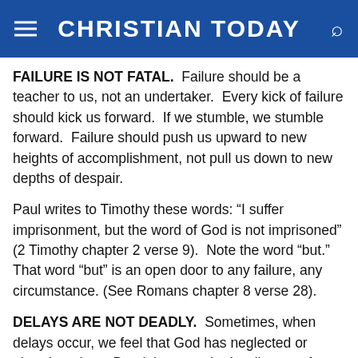CHRISTIAN TODAY
FAILURE IS NOT FATAL. Failure should be a teacher to us, not an undertaker. Every kick of failure should kick us forward. If we stumble, we stumble forward. Failure should push us upward to new heights of accomplishment, not pull us down to new depths of despair.
Paul writes to Timothy these words: “I suffer imprisonment, but the word of God is not imprisoned” (2 Timothy chapter 2 verse 9). Note the word “but.” That word “but” is an open door to any failure, any circumstance. (See Romans chapter 8 verse 28).
DELAYS ARE NOT DEADLY. Sometimes, when delays occur, we feel that God has neglected or abandoned us. But delays are the Lord’s way of teaching us patience.